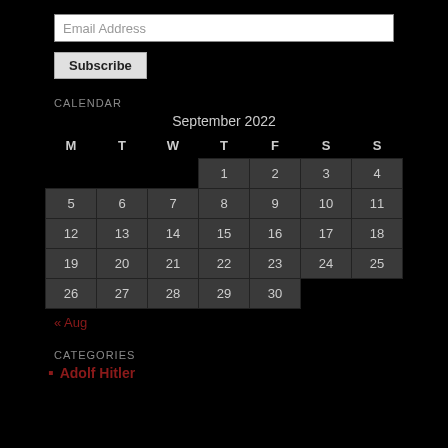Email Address
Subscribe
CALENDAR
| M | T | W | T | F | S | S |
| --- | --- | --- | --- | --- | --- | --- |
|  |  |  | 1 | 2 | 3 | 4 |
| 5 | 6 | 7 | 8 | 9 | 10 | 11 |
| 12 | 13 | 14 | 15 | 16 | 17 | 18 |
| 19 | 20 | 21 | 22 | 23 | 24 | 25 |
| 26 | 27 | 28 | 29 | 30 |  |  |
« Aug
CATEGORIES
Adolf Hitler